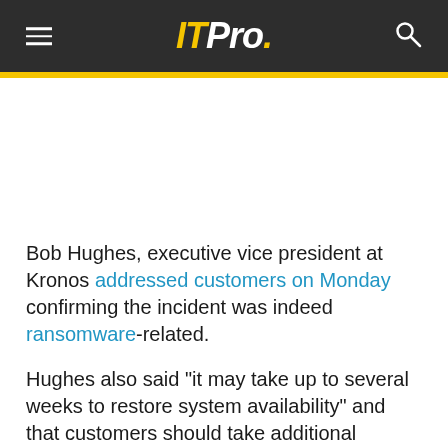ITPro.
[Figure (other): Advertisement / image placeholder area]
Bob Hughes, executive vice president at Kronos addressed customers on Monday confirming the incident was indeed ransomware-related.
Hughes also said "it may take up to several weeks to restore system availability" and that customers should take additional measures to ensure the